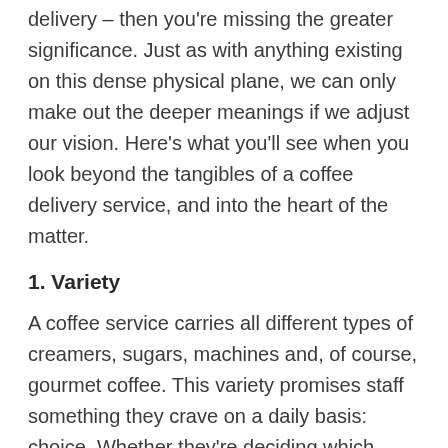delivery – then you're missing the greater significance. Just as with anything existing on this dense physical plane, we can only make out the deeper meanings if we adjust our vision. Here's what you'll see when you look beyond the tangibles of a coffee delivery service, and into the heart of the matter.
1. Variety
A coffee service carries all different types of creamers, sugars, machines and, of course, gourmet coffee. This variety promises staff something they crave on a daily basis: choice. Whether they're deciding which route to take on their morning commute, picking out their socks, or choosing the coffee they'd like in their cup – human beings like options. In fact,